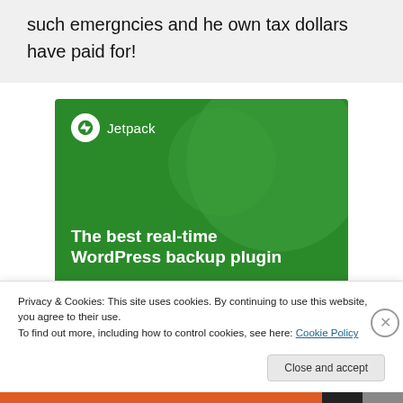such emergncies and he own tax dollars have paid for!
[Figure (illustration): Jetpack WordPress plugin advertisement banner on green background. Shows Jetpack logo (lightning bolt in circle) and text 'The best real-time WordPress backup plugin']
Privacy & Cookies: This site uses cookies. By continuing to use this website, you agree to their use.
To find out more, including how to control cookies, see here: Cookie Policy
Close and accept